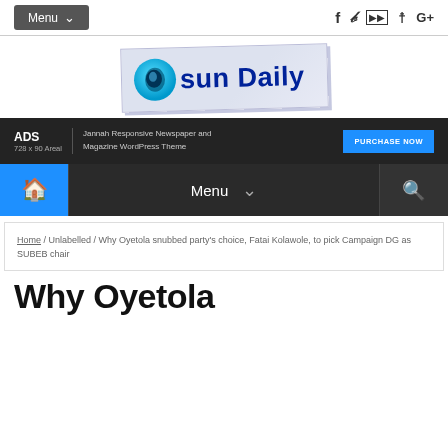Menu | f | Twitter | YouTube | Instagram | G+
[Figure (logo): Osun Daily newspaper logo with blue O and dark blue text 'sun Daily']
[Figure (infographic): Ad banner: ADS 728x90 Areal | Jannah Responsive Newspaper and Magazine WordPress Theme | PURCHASE NOW]
Home icon | Menu | Search icon
Home / Unlabelled / Why Oyetola snubbed party's choice, Fatai Kolawole, to pick Campaign DG as SUBEB chair
Why Oyetola